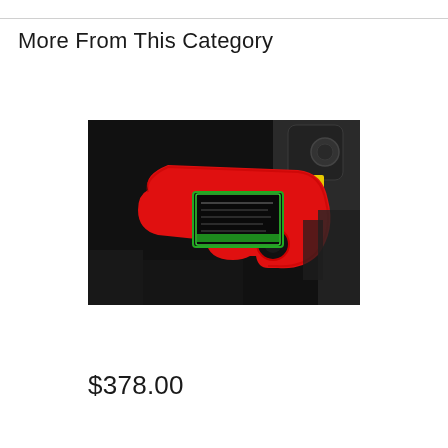More From This Category
[Figure (photo): A bright red automotive part (appears to be a tow hook or engine component guard) with a black information label with green border attached, mounted in a dark engine bay or vehicle interior. A blue light glow is visible in the lower left corner.]
$378.00